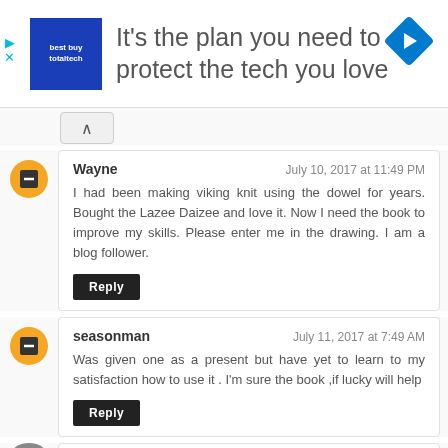[Figure (infographic): Advertisement banner: blue square logo with 'totaltech' text, heading 'It’s the plan you need to protect the tech you love', blue diamond arrow icon top right, play and close controls on left side]
Wayne
July 10, 2017 at 11:49 PM
I had been making viking knit using the dowel for years. Bought the Lazee Daizee and love it. Now I need the book to improve my skills. Please enter me in the drawing. I am a blog follower.
Reply
seasonman
July 11, 2017 at 7:49 AM
Was given one as a present but have yet to learn to my satisfaction how to use it . I'm sure the book ,if lucky will help
Reply